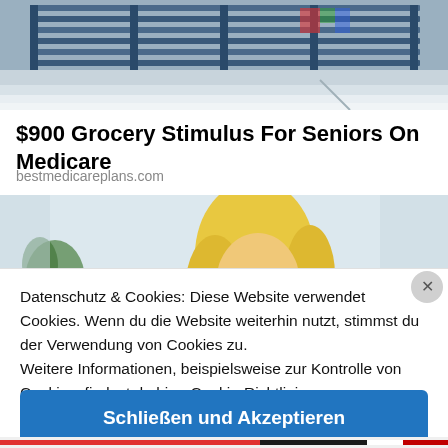[Figure (screenshot): Top banner image showing a building facade with grid/window pattern in blue and gray tones]
$900 Grocery Stimulus For Seniors On Medicare
bestmedicareplans.com
[Figure (photo): Photo of a blonde woman in a yellow top looking down]
Datenschutz & Cookies: Diese Website verwendet Cookies. Wenn du die Website weiterhin nutzt, stimmst du der Verwendung von Cookies zu.
Weitere Informationen, beispielsweise zur Kontrolle von Cookies, findest du hier: Cookie-Richtlinie
Schließen und Akzeptieren